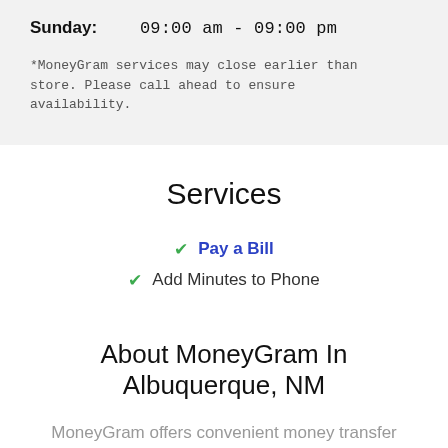Sunday: 09:00 am - 09:00 pm
*MoneyGram services may close earlier than store. Please call ahead to ensure availability.
Services
✔ Pay a Bill
✔ Add Minutes to Phone
About MoneyGram In Albuquerque, NM
MoneyGram offers convenient money transfer options. It's easy to send money online or in person; for cash pick-up or direct to a bank. We